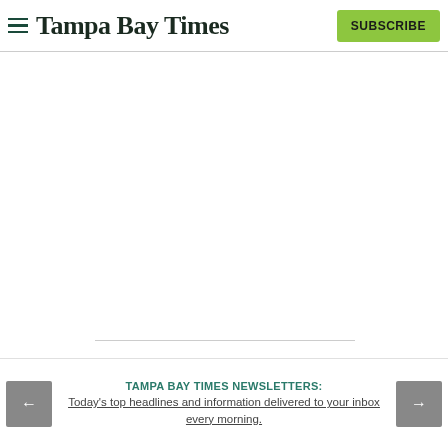Tampa Bay Times — SUBSCRIBE
But Baiardi said the money would be better spent giving
TAMPA BAY TIMES NEWSLETTERS: Today's top headlines and information delivered to your inbox every morning.